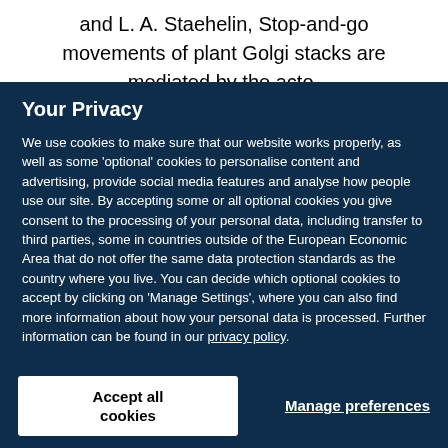and L. A. Staehelin, Stop-and-go movements of plant Golgi stacks are mediated by the acto- myosin system, Plant Physiol 121: 1137
Your Privacy
We use cookies to make sure that our website works properly, as well as some ‘optional’ cookies to personalise content and advertising, provide social media features and analyse how people use our site. By accepting some or all optional cookies you give consent to the processing of your personal data, including transfer to third parties, some in countries outside of the European Economic Area that do not offer the same data protection standards as the country where you live. You can decide which optional cookies to accept by clicking on ‘Manage Settings’, where you can also find more information about how your personal data is processed. Further information can be found in our privacy policy.
Accept all cookies
Manage preferences